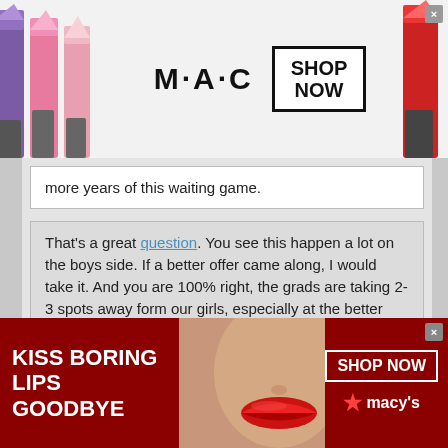[Figure (screenshot): MAC Cosmetics advertisement banner with lipsticks on left and right, MAC logo in center, and SHOP NOW button in a box. Top ad banner.]
more years of this waiting game.
That's a great question. You see this happen a lot on the boys side. If a better offer came along, I would take it. And you are 100% right, the grads are taking 2-3 spots away form our girls, especially at the better schools.
2020s will be seniors when 2023s are college freshman. The only class with the extra covid year by that time will be 2019s. Could be some redshirt 20s-22s, I suppose, but not many based on how many 2020s got playing time this past season instead of redshirting. Do you really think coaches are going to
[Figure (screenshot): Macy's advertisement banner. Dark red background with text KISS BORING LIPS GOODBYE on the left, a woman's face with red lips in the center, SHOP NOW button and Macy's logo on the right.]